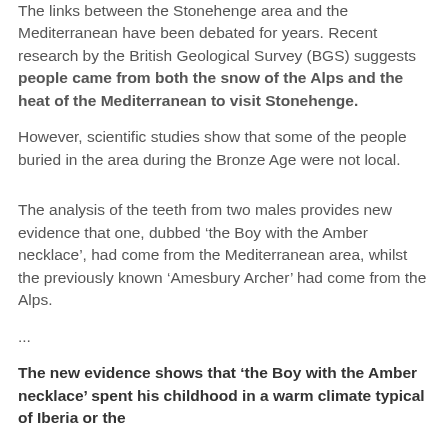The links between the Stonehenge area and the Mediterranean have been debated for years. Recent research by the British Geological Survey (BGS) suggests people came from both the snow of the Alps and the heat of the Mediterranean to visit Stonehenge.
However, scientific studies show that some of the people buried in the area during the Bronze Age were not local.
The analysis of the teeth from two males provides new evidence that one, dubbed ‘the Boy with the Amber necklace’, had come from the Mediterranean area, whilst the previously known ‘Amesbury Archer’ had come from the Alps.
...
The new evidence shows that ‘the Boy with the Amber necklace’ spent his childhood in a warm climate typical of Iberia or the